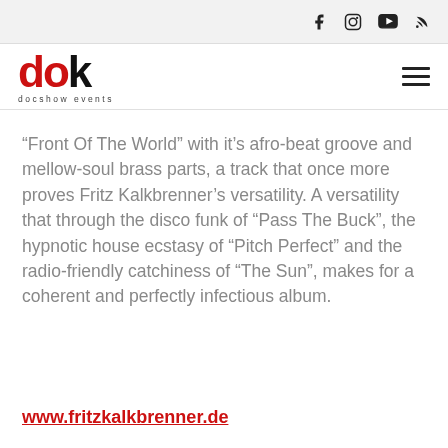Social media icons: Facebook, Instagram, YouTube, RSS
[Figure (logo): dok docshow events logo with red 'd' and 'o', black 'k', with tagline 'docshow events']
“Front Of The World” with it’s afro-beat groove and mellow-soul brass parts, a track that once more proves Fritz Kalkbrenner’s versatility. A versatility that through the disco funk of “Pass The Buck”, the hypnotic house ecstasy of “Pitch Perfect” and the radio-friendly catchiness of “The Sun”, makes for a coherent and perfectly infectious album.
www.fritzkalkbrenner.de